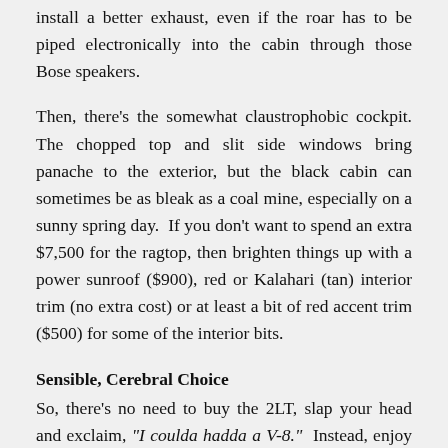install a better exhaust, even if the roar has to be piped electronically into the cabin through those Bose speakers.
Then, there's the somewhat claustrophobic cockpit. The chopped top and slit side windows bring panache to the exterior, but the black cabin can sometimes be as bleak as a coal mine, especially on a sunny spring day. If you don't want to spend an extra $7,500 for the ragtop, then brighten things up with a power sunroof ($900), red or Kalahari (tan) interior trim (no extra cost) or at least a bit of red accent trim ($500) for some of the interior bits.
Sensible, Cerebral Choice
So, there's no need to buy the 2LT, slap your head and exclaim, "I coulda hadda a V-8." Instead, enjoy this beautiful touring coupe for what it is: the sensible and cerebral choice for those who love cars. No, it's not a muscle machine. But at this price -- with solid power a